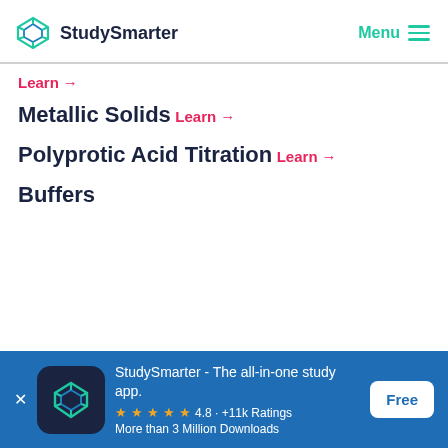StudySmarter | Menu
Learn →
Metallic Solids
Learn →
Polyprotic Acid Titration
Learn →
Buffers
[Figure (screenshot): StudySmarter app download banner with logo, rating 4.8 +11k Ratings, More than 3 Million Downloads, and a Free button]